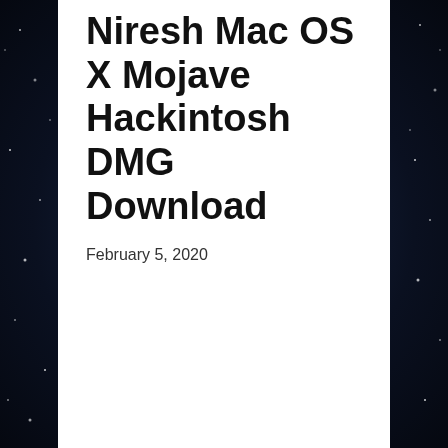Niresh Mac OS X Mojave Hackintosh DMG Download
February 5, 2020
Download Niresh Mac OS X Mojave Hackintosh DMG for Mac Free. it is full Latest Version setup of Niresh Mac OS X Mojave Hackintosh DMG Premium Pro DMG.